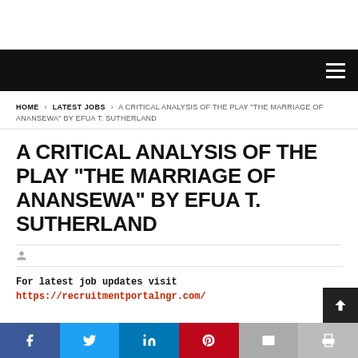Navigation bar with hamburger menu
HOME › LATEST JOBS › A CRITICAL ANALYSIS OF THE PLAY "THE MARRIAGE OF ANANSEWA" BY EFUA T. SUTHERLAND
A CRITICAL ANALYSIS OF THE PLAY "THE MARRIAGE OF ANANSEWA" BY EFUA T. SUTHERLAND
For latest job updates visit https://recruitmentportalngr.com/